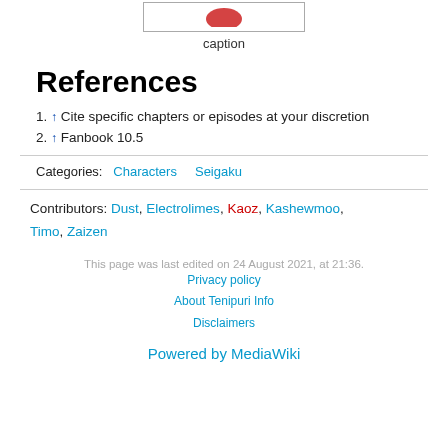[Figure (illustration): Partial image at top with a red element visible, inside a bordered box]
caption
References
↑ Cite specific chapters or episodes at your discretion
↑ Fanbook 10.5
Categories:  Characters    Seigaku
Contributors: Dust, Electrolimes, Kaoz, Kashewmoo, Timo, Zaizen
This page was last edited on 24 August 2021, at 21:36.
Privacy policy
About Tenipuri Info
Disclaimers
Powered by MediaWiki